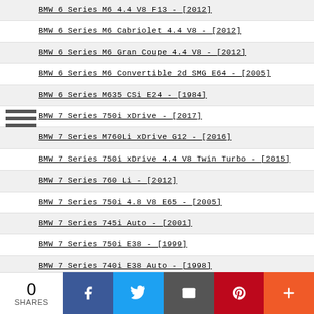BMW 6 Series M6 4.4 V8 F13 - [2012]
BMW 6 Series M6 Cabriolet 4.4 V8 - [2012]
BMW 6 Series M6 Gran Coupe 4.4 V8 - [2012]
BMW 6 Series M6 Convertible 2d SMG E64 - [2005]
BMW 6 Series M635 CSi E24 - [1984]
BMW 7 Series 750i xDrive - [2017]
BMW 7 Series M760Li xDrive G12 - [2016]
BMW 7 Series 750i xDrive 4.4 V8 Twin Turbo - [2015]
BMW 7 Series 760 Li - [2012]
BMW 7 Series 750i 4.8 V8 E65 - [2005]
BMW 7 Series 745i Auto - [2001]
BMW 7 Series 750i E38 - [1999]
BMW 7 Series 740i E38 Auto - [1998]
BMW 7 Series 750i E38 Auto - [1995]
BMW 7 Series 740i E32 - [1992]
BMW 8 Series M8 Competition Gran Coupe 4.4 V8 Turbo - [2019]
BMW 8 Series M8 Gran Coupe 4.4 V8 Turbo F93 - [2019]